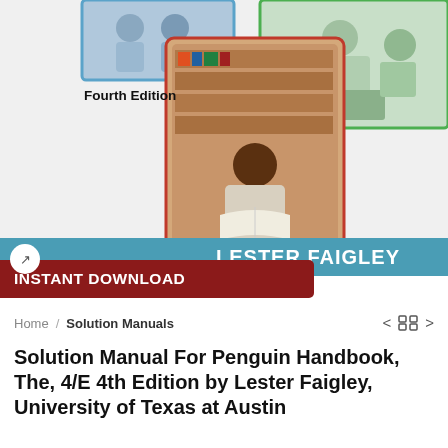[Figure (photo): Book cover collage showing students studying in library, with teal and red design elements for 'The Penguin Handbook Fourth Edition' by Lester Faigley]
Fourth Edition
LESTER FAIGLEY
INSTANT DOWNLOAD
Home / Solution Manuals
Solution Manual For Penguin Handbook, The, 4/E 4th Edition by Lester Faigley, University of Texas at Austin